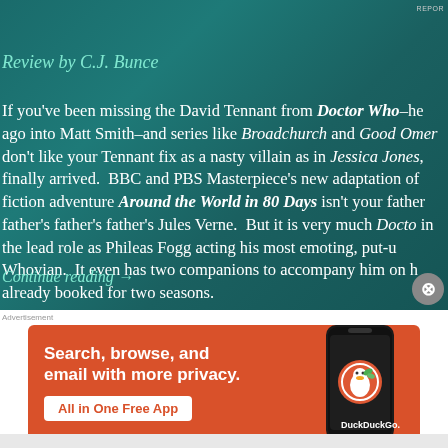REPOR
Review by C.J. Bunce
If you've been missing the David Tennant from Doctor Who–he ago into Matt Smith–and series like Broadchurch and Good Omen don't like your Tennant fix as a nasty villain as in Jessica Jones, finally arrived.  BBC and PBS Masterpiece's new adaptation of fiction adventure Around the World in 80 Days isn't your father father's father's father's Jules Verne.  But it is very much Docto in the lead role as Phileas Fogg acting his most emoting, put-u Whovian.  It even has two companions to accompany him on h already booked for two seasons.
Continue reading →
Advertisement
[Figure (infographic): DuckDuckGo app advertisement on orange background with phone graphic showing app icon and text: Search, browse, and email with more privacy. All in One Free App]